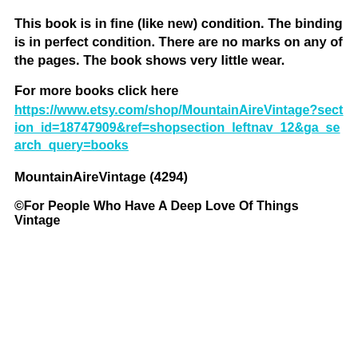This book is in fine (like new) condition. The binding is in perfect condition. There are no marks on any of the pages. The book shows very little wear.
For more books click here
https://www.etsy.com/shop/MountainAireVintage?section_id=18747909&ref=shopsection_leftnav_12&ga_search_query=books
MountainAireVintage (4294)
©For People Who Have A Deep Love Of Things Vintage